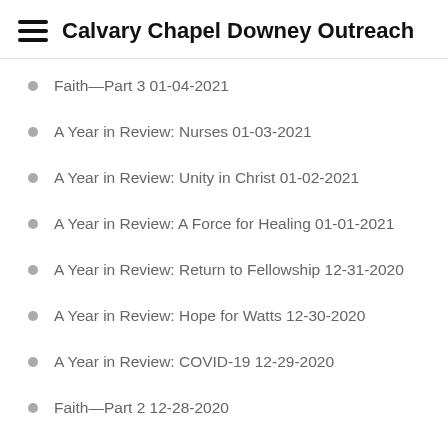Calvary Chapel Downey Outreach
Faith—Part 3 01-04-2021
A Year in Review: Nurses 01-03-2021
A Year in Review: Unity in Christ 01-02-2021
A Year in Review: A Force for Healing 01-01-2021
A Year in Review: Return to Fellowship 12-31-2020
A Year in Review: Hope for Watts 12-30-2020
A Year in Review: COVID-19 12-29-2020
Faith—Part 2 12-28-2020
Far Reaching Ministries—Russia 12-25-2020
Mary: A Fresh Look at the Familiar 12-24-2020
Mary: A Fresh Look at the Familiar 12-23-2020
Mary: A Fresh Look at the Familiar 12-22-2020
Faith—Part 1 12-21-2020
Orange Fire 12-18-2020